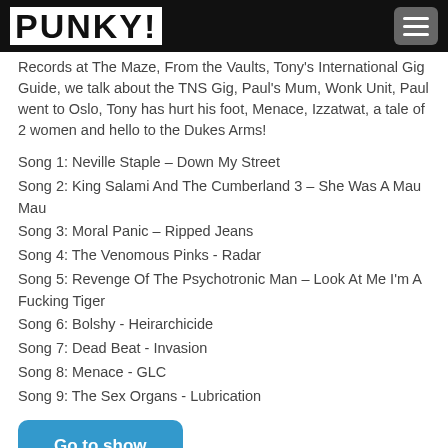PUNKY!
Records at The Maze, From the Vaults, Tony's International Gig Guide, we talk about the TNS Gig, Paul's Mum, Wonk Unit, Paul went to Oslo, Tony has hurt his foot, Menace, Izzatwat, a tale of 2 women and hello to the Dukes Arms!
Song 1: Neville Staple – Down My Street
Song 2: King Salami And The Cumberland 3 – She Was A Mau Mau
Song 3: Moral Panic – Ripped Jeans
Song 4: The Venomous Pinks - Radar
Song 5: Revenge Of The Psychotronic Man – Look At Me I'm A Fucking Tiger
Song 6: Bolshy - Heirarchicide
Song 7: Dead Beat - Invasion
Song 8: Menace - GLC
Song 9: The Sex Organs - Lubrication
Go to show